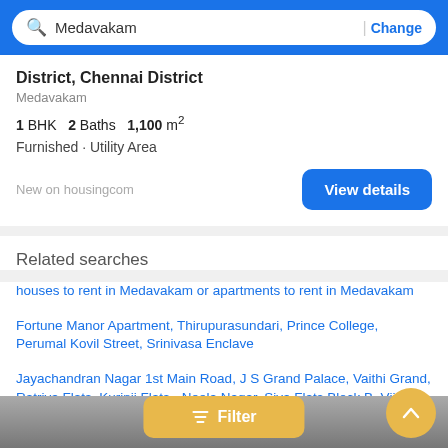Medavakam | Change
District, Chennai District
Medavakam
1 BHK  2 Baths  1,100 m²
Furnished · Utility Area
New on housingcom
Related searches
houses to rent in Medavakam or apartments to rent in Medavakam
Fortune Manor Apartment, Thirupurasundari, Prince College, Perumal Kovil Street, Srinivasa Enclave
Jayachandran Nagar 1st Main Road, J S Grand Palace, Vaithi Grand, Ratriya Flats, Kurinji Flats - Neela Nagar, Siva Flats Block B, Vijaya Flats, Rohaan Landmark, Dove\s Nest R Rasi l